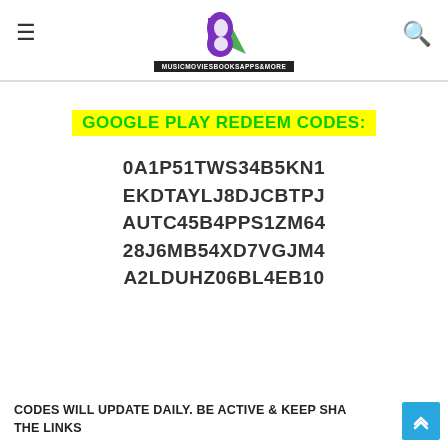≡  [Logo: B - MUSICMOVIESBOOKSAPPS&MORE]  🔍
GOOGLE PLAY REDEEM CODES:
0A1P51TWS34B5KN1
EKDTAYLJ8DJCBTPJ
AUTC45B4PPS1ZM64
28J6MB54XD7VGJM4
A2LDUHZ06BL4EB10
CODES WILL UPDATE DAILY. BE ACTIVE & KEEP SHARING THE LINKS